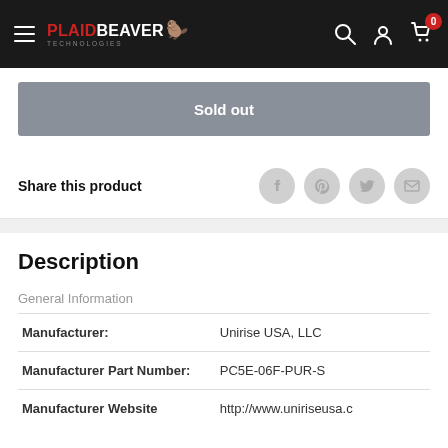PLAIDBEAVER TECHNOLOGIES — navigation bar with hamburger menu, search, account, and cart icons
Sold out
Share this product
Description
General Information
|  |  |
| --- | --- |
| Manufacturer: | Unirise USA, LLC |
| Manufacturer Part Number: | PC5E-06F-PUR-S |
| Manufacturer Website | http://www.uniriseusa.c |